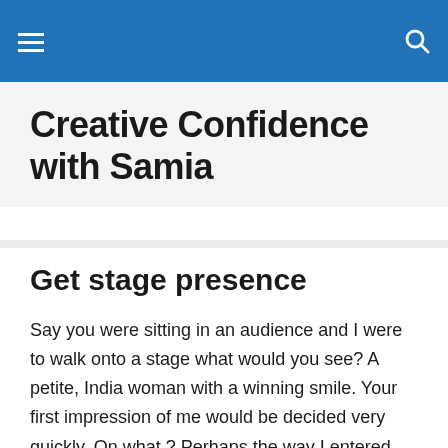Creative Confidence with Samia
Creative Confidence with Samia
Get stage presence
Say you were sitting in an audience and I were to walk onto a stage what would you see? A petite, India woman with a winning smile. Your first impression of me would be decided very quickly. On what ? Perhaps the way I entered, did I seem hurried to you? Nervous or at ease? Did you like the fact that I acknowledge you with as soon as I appeared from the side-wings or did I ignore you